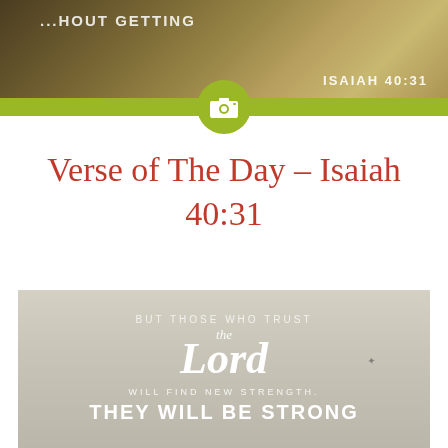[Figure (photo): Top banner with mountain landscape background and partial text '...HOUT GETTING' visible, with 'ISAIAH 40:31' in the bottom right, and a yellow-green horizontal bar at the bottom with a camera icon in a green circle overlay]
Verse of The Day – Isaiah 40:31
[Figure (photo): Inspirational quote card with beige/grey background showing the text: 'BUT THOSE WHO TRUST the Lord WILL FIND NEW STRENGTH. THEY WILL BE STRONG' in white lettering with script font for 'the Lord', small bird silhouette visible on right side]